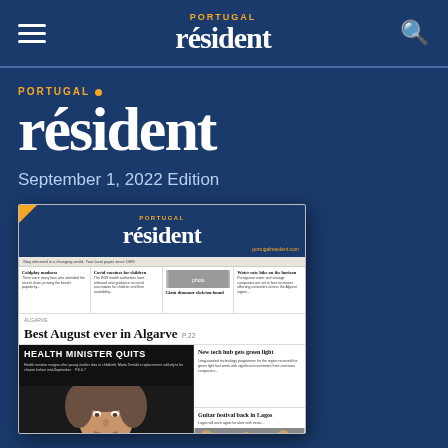PORTUGAL resident
PORTUGAL resident
September 1, 2022 Edition
[Figure (photo): Thumbnail image of the Portugal Resident newspaper front page dated September 1, 2022, showing headlines including 'Best August ever in Algarve', 'HEALTH MINISTER QUITS', and other stories about Coldplay, Covid vaccines, giant dinosaur skeleton, and water rate hike. Shows a photo of a woman (health minister) with hands clasped.]